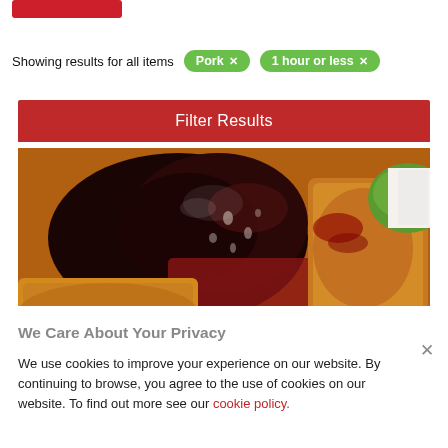[Figure (other): Red button partially visible at top left corner]
Showing results for all items  Pork ×  1 hour or less ×
Filter Results
[Figure (photo): Close-up photo of cooked pork with dark berry sauce and green sauce in background]
We Care About Your Privacy
We use cookies to improve your experience on our website. By continuing to browse, you agree to the use of cookies on our website. To find out more see our cookie policy.